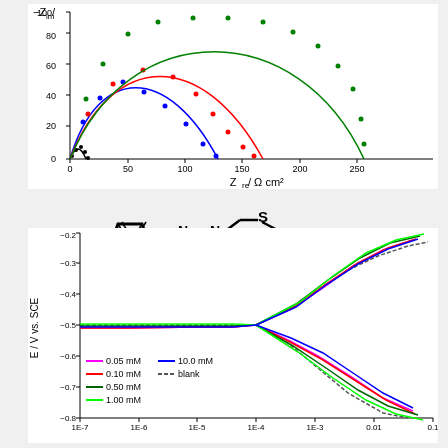[Figure (continuous-plot): Nyquist plot (EIS) showing -Z_im vs Z_re (Ω cm²) for different inhibitor concentrations. Four semicircular arcs in black, blue, red, and green colors with dotted experimental points and solid fitted lines. Green arc is largest reaching ~250 Ω cm².]
[Figure (illustration): Chemical structure of a Schiff base compound: furan-2-carbaldehyde linked via imine (N=N) to a thiazolidine ring with NH and C=O and C=S groups.]
[Figure (continuous-plot): Tafel polarization curves showing E (V vs. SCE) vs log|i| (A cm²) for different inhibitor concentrations (0.05 mM magenta, 0.10 mM red, 0.50 mM dark green, 1.00 mM bright green, 10.0 mM blue, blank gray/black). Curves converge near -0.5 V and fan out at higher currents.]
Legend: 0.05 mM, 0.10 mM, 0.50 mM, 1.00 mM, 10.0 mM, blank